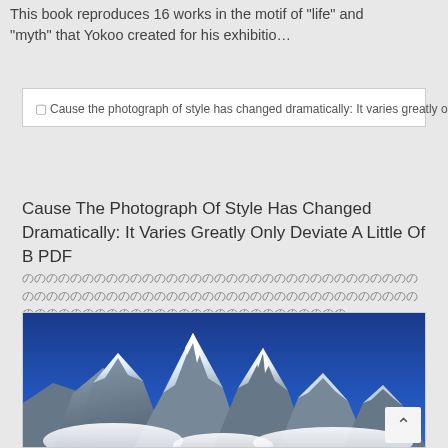This book reproduces 16 works in the motif of "life" and "myth" that Yokoo created for his exhibitio…
[Figure (screenshot): Book thumbnail card with broken image icon and title text: Cause the photograph of style has changed dramatically: It varies greatly only deviate a little of belief (Ai-photec Novels) (Japanese Edition) pdf]
Cause The Photograph Of Style Has Changed Dramatically: It Varies Greatly Only Deviate A Little Of B PDF
Japanese characters block text ...
[Figure (photo): Snow-capped mountain peaks (Himalayan mountains) against a deep blue sky with white clouds at the base]